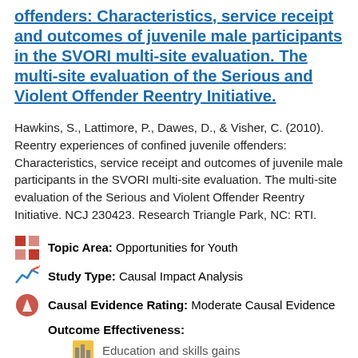offenders: Characteristics, service receipt and outcomes of juvenile male participants in the SVORI multi-site evaluation. The multi-site evaluation of the Serious and Violent Offender Reentry Initiative.
Hawkins, S., Lattimore, P., Dawes, D., & Visher, C. (2010). Reentry experiences of confined juvenile offenders: Characteristics, service receipt and outcomes of juvenile male participants in the SVORI multi-site evaluation. The multi-site evaluation of the Serious and Violent Offender Reentry Initiative. NCJ 230423. Research Triangle Park, NC: RTI.
Topic Area: Opportunities for Youth
Study Type: Causal Impact Analysis
Causal Evidence Rating: Moderate Causal Evidence
Outcome Effectiveness:
Education and skills gains